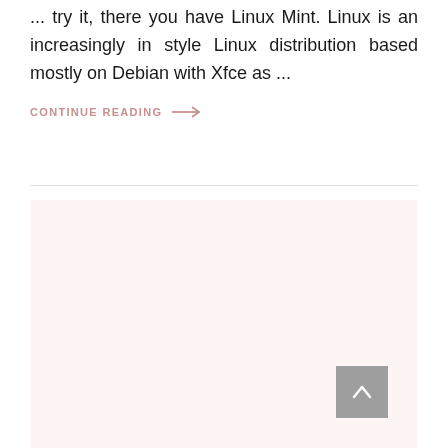... try it, there you have Linux Mint. Linux is an increasingly in style Linux distribution based mostly on Debian with Xfce as ...
CONTINUE READING →
[Figure (other): Light pink/rose colored rectangular content placeholder area with a back-to-top button (grey square with upward arrow) in the bottom right corner]